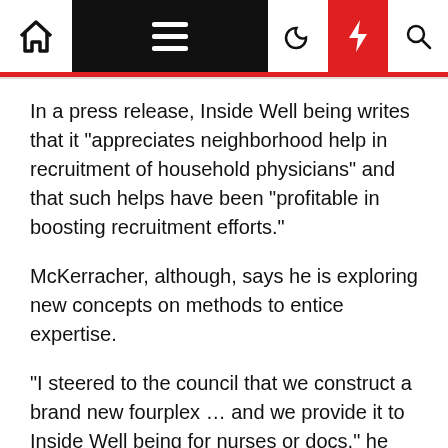Navigation bar with home icon, hamburger menu, moon icon, bolt icon, and search icon
In a press release, Inside Well being writes that it "appreciates neighborhood help in recruitment of household physicians" and that such helps have been "profitable in boosting recruitment efforts."
McKerracher, although, says he is exploring new concepts on methods to entice expertise.
"I steered to the council that we construct a brand new fourplex … and we provide it to Inside Well being for nurses or docs," he stated, with the concept docs recent out of college, and doubtlessly saddled with scholar debt, could be tempted by extra inexpensive hire.
If that is not sufficient, McKerracher says he is keen to discipline private inquiries from any candidate.